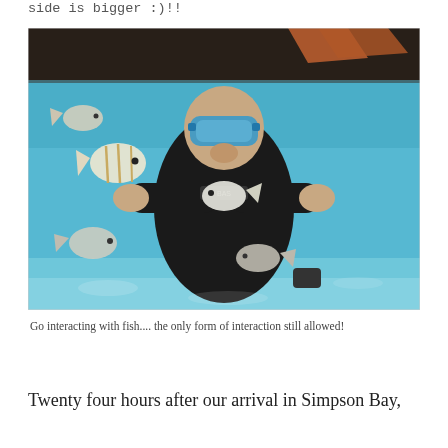side is bigger :)!!
[Figure (photo): Underwater photo of a person in a black wetsuit and blue snorkeling mask, surrounded by tropical fish, holding a fish close to the camera. The photo is split between above-water reflection at the top and clear blue underwater below.]
Go interacting with fish.... the only form of interaction still allowed!
Twenty four hours after our arrival in Simpson Bay,